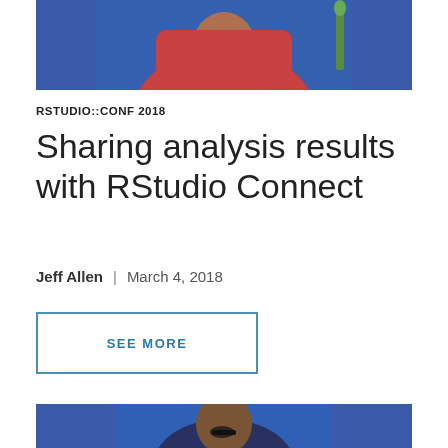[Figure (photo): Speaker in red shirt on blue background, upper portion cropped]
RSTUDIO::CONF 2018
Sharing analysis results with RStudio Connect
Jeff Allen  |  March 4, 2018
SEE MORE
[Figure (photo): Speaker in dark outfit with glasses on blue background, bottom portion visible]